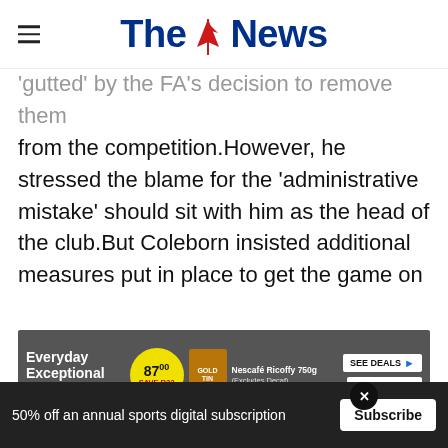The News
'gutted' by the FA's decision to remove them from the competition.However, he stressed the blame for the 'administrative mistake' should sit with him as the head of the club.But Coleborn insisted additional measures put in place to get the game on while adhering to Covid-19 guidelines were a contributing factor to the error.The Pompey Women chairman said: 'I apologise to everybody for this.'It's an administrative...probably the reason why the administrative
[Figure (infographic): Pick n Pay advertisement banner: Everyday Exceptional, 87.00 SAVE R22, Gold tin product, Nescafe Ricoffy 750g (Excludes Decaf), SEE DEALS button, Pick n Pay logo]
50% off an annual sports digital subscription
Subscribe